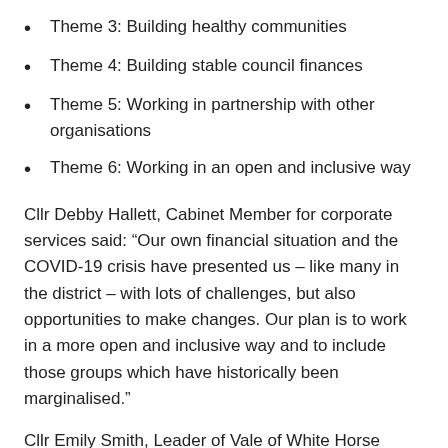Theme 3: Building healthy communities
Theme 4: Building stable council finances
Theme 5: Working in partnership with other organisations
Theme 6: Working in an open and inclusive way
Cllr Debby Hallett, Cabinet Member for corporate services said: “Our own financial situation and the COVID-19 crisis have presented us – like many in the district – with lots of challenges, but also opportunities to make changes. Our plan is to work in a more open and inclusive way and to include those groups which have historically been marginalised.”
Cllr Emily Smith, Leader of Vale of White Horse District Council, said: “It is absolutely vital that we put tackling the climate emergency at the heart of our new Corporate Plan. But part of that focus is also helping build healthier